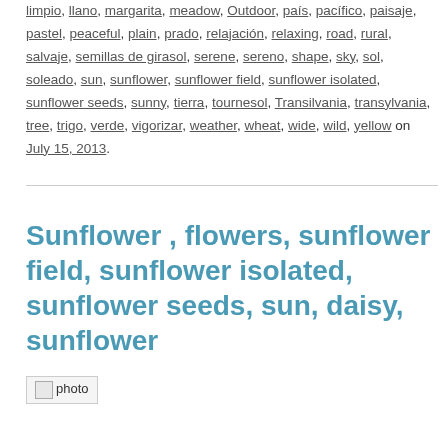limpio, llano, margarita, meadow, Outdoor, país, pacífico, paisaje, pastel, peaceful, plain, prado, relajación, relaxing, road, rural, salvaje, semillas de girasol, serene, sereno, shape, sky, sol, soleado, sun, sunflower, sunflower field, sunflower isolated, sunflower seeds, sunny, tierra, tournesol, Transilvania, transylvania, tree, trigo, verde, vigorizar, weather, wheat, wide, wild, yellow on July 15, 2013.
Sunflower , flowers, sunflower field, sunflower isolated, sunflower seeds, sun, daisy, sunflower
[Figure (photo): Broken/missing image placeholder labeled 'photo']